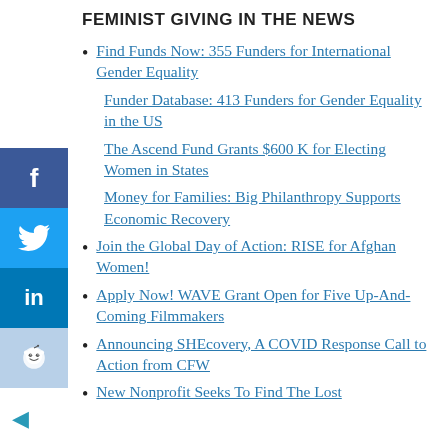FEMINIST GIVING IN THE NEWS
Find Funds Now: 355 Funders for International Gender Equality
Funder Database: 413 Funders for Gender Equality in the US
The Ascend Fund Grants $600 K for Electing Women in States
Money for Families: Big Philanthropy Supports Economic Recovery
Join the Global Day of Action: RISE for Afghan Women!
Apply Now! WAVE Grant Open for Five Up-And-Coming Filmmakers
Announcing SHEcovery, A COVID Response Call to Action from CFW
New Nonprofit Seeks To Find The Lost…